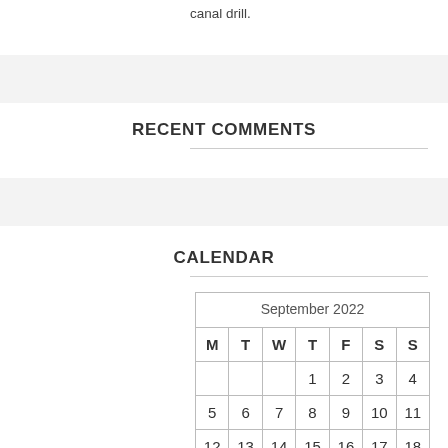canal drill.
RECENT COMMENTS
CALENDAR
| M | T | W | T | F | S | S |
| --- | --- | --- | --- | --- | --- | --- |
|  |  |  | 1 | 2 | 3 | 4 |
| 5 | 6 | 7 | 8 | 9 | 10 | 11 |
| 12 | 13 | 14 | 15 | 16 | 17 | 18 |